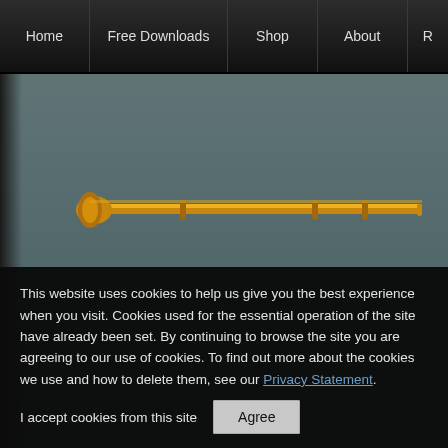Home | Free Downloads | Shop | About | R
[Figure (illustration): Website banner/hero area with dark teal/grey gradient background and a golden decorative bar with trumpet graphic near the top]
Home › Concert Reviews › Last In Line / Inglorious / The Wild Lies
[Figure (screenshot): Member Login box with lock icon and MEMBER LOGIN text; Welcome box partially visible on right with user icon and WELCOME TO THE text]
This website uses cookies to help us give you the best experience when you visit. Cookies used for the essential operation of the site have already been set. By continuing to browse the site you are agreeing to our use of cookies. To find out more about the cookies we use and how to delete them, see our Privacy Statement.
I accept cookies from this site
Agree